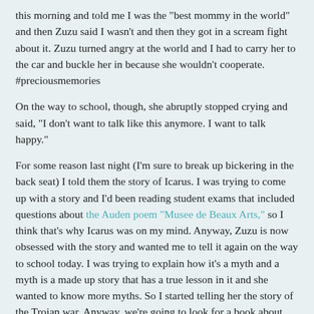this morning and told me I was the "best mommy in the world" and then Zuzu said I wasn't and then they got in a scream fight about it. Zuzu turned angry at the world and I had to carry her to the car and buckle her in because she wouldn't cooperate. #preciousmemories
On the way to school, though, she abruptly stopped crying and said, "I don't want to talk like this anymore. I want to talk happy."
For some reason last night (I'm sure to break up bickering in the back seat) I told them the story of Icarus. I was trying to come up with a story and I'd been reading student exams that included questions about the Auden poem "Musee de Beaux Arts," so I think that's why Icarus was on my mind. Anyway, Zuzu is now obsessed with the story and wanted me to tell it again on the way to school today. I was trying to explain how it's a myth and a myth is a made up story that has a true lesson in it and she wanted to know more myths. So I started telling her the story of the Trojan war. Anyway, we're going to look for a book about Greek mythology at the library today, and if I weren't finished Christmas shopping, I'd order this book. (Full disclosure... it's sitting in my Amazon cart now.)